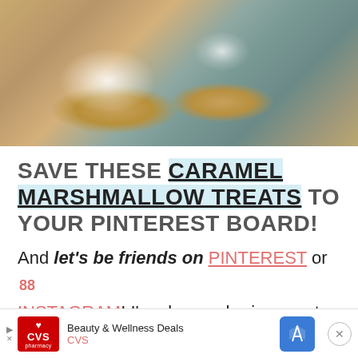[Figure (photo): Overhead photo of caramel marshmallow rice crispy treats on a blue tray; one treat has a large white marshmallow on top, another has chocolate drizzle and sprinkles]
SAVE THESE CARAMEL MARSHMALLOW TREATS TO YOUR PINTEREST BOARD!
And let's be friends on PINTEREST or 88 INSTAGRAM! I'm always sharing great recipes!
[Figure (infographic): Advertisement bar for CVS Beauty & Wellness Deals]